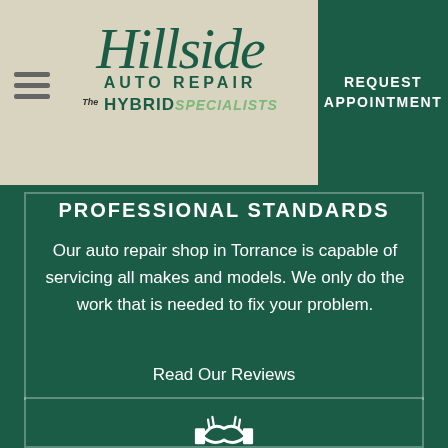Hillside AUTO REPAIR The HYBRID SPECIALISTS
REQUEST APPOINTMENT
PROFESSIONAL STANDARDS
Our auto repair shop in Torrance is capable of servicing all makes and models. We only do the work that is needed to fix your problem.
Read Our Reviews
[Figure (illustration): Handshake icon in white at bottom of page]